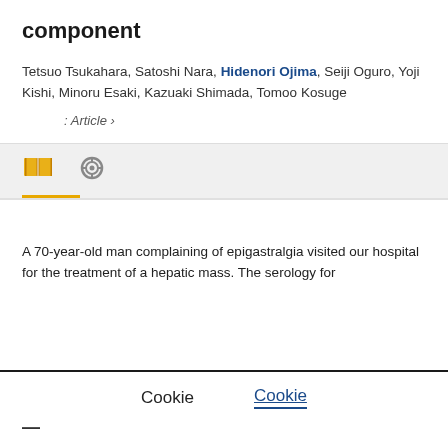component
Tetsuo Tsukahara, Satoshi Nara, Hidenori Ojima, Seiji Oguro, Yoji Kishi, Minoru Esaki, Kazuaki Shimada, Tomoo Kosuge
: Article ›
[Figure (other): Tab navigation icons: open book icon in gold/yellow and a ring/spiral icon in grey, with a gold underline beneath the first tab]
A 70-year-old man complaining of epigastralgia visited our hospital for the treatment of a hepatic mass. The serology for
Cookie
Cookie